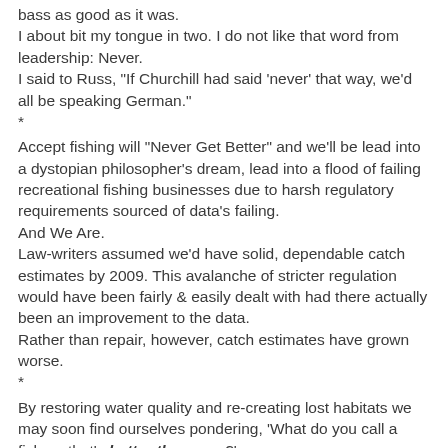bass as good as it was.
I about bit my tongue in two. I do not like that word from leadership: Never.
I said to Russ, "If Churchill had said 'never' that way, we'd all be speaking German."
*
Accept fishing will "Never Get Better" and we'll be lead into a dystopian philosopher's dream, lead into a flood of failing recreational fishing businesses due to harsh regulatory requirements sourced of data's failing.
And We Are.
Law-writers assumed we'd have solid, dependable catch estimates by 2009. This avalanche of stricter regulation would have been fairly & easily dealt with had there actually been an improvement to the data.
Rather than repair, however, catch estimates have grown worse.
*
By restoring water quality and re-creating lost habitats we may soon find ourselves pondering, 'What do you call a fishery that's better than ever?'
An engineered fishery for sure. We'll wordsmith it as need